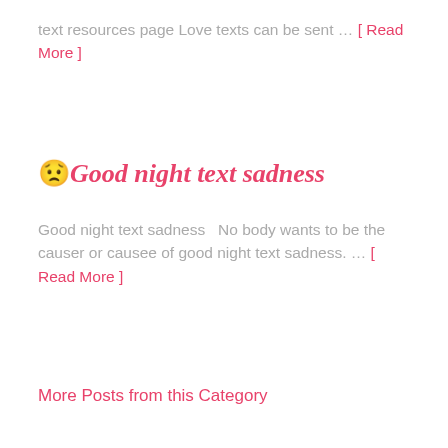text resources page Love texts can be sent … [ Read More ]
😟Good night text sadness
Good night text sadness  No body wants to be the causer or causee of good night text sadness. … [ Read More ]
More Posts from this Category